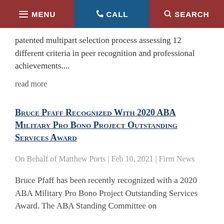MENU   CALL   SEARCH
patented multipart selection process assessing 12 different criteria in peer recognition and professional achievements....
read more
Bruce Pfaff Recognized With 2020 ABA Military Pro Bono Project Outstanding Services Award
On Behalf of Matthew Ports | Feb 10, 2021 | Firm News
Bruce Pfaff has been recently recognized with a 2020 ABA Military Pro Bono Project Outstanding Services Award. The ABA Standing Committee on